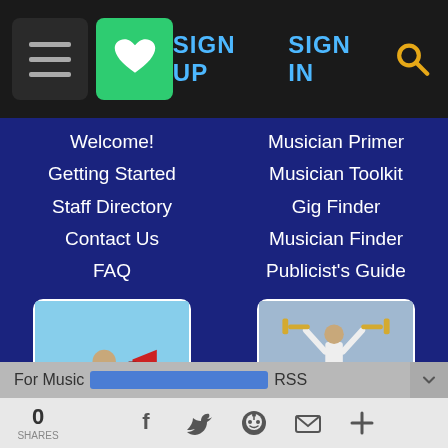SIGN UP  SIGN IN
Welcome!
Getting Started
Staff Directory
Contact Us
FAQ
Musician Primer
Musician Toolkit
Gig Finder
Musician Finder
Publicist's Guide
[Figure (photo): Person in business suit holding megaphone on grass]
[Figure (photo): Musician raising trombone above a crowd at a concert]
ADVERTISE
Place Order
Rates and Options
FOLLOW
Newsletter
Embeddables
For Music  RSS
0 SHARES